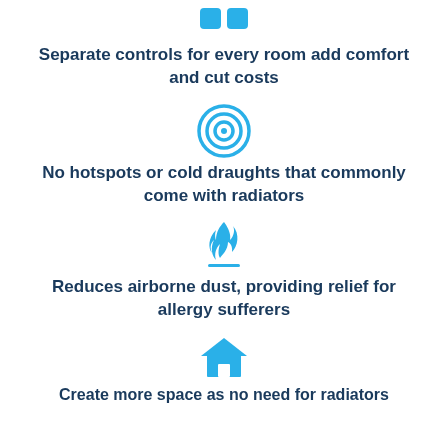[Figure (infographic): Two blue quotation mark squares icon]
Separate controls for every room add comfort and cut costs
[Figure (infographic): Blue concentric circles / target icon]
No hotspots or cold draughts that commonly come with radiators
[Figure (infographic): Blue flame with horizontal line below icon]
Reduces airborne dust, providing relief for allergy sufferers
[Figure (infographic): Blue house / home icon]
Create more space as no need for radiators